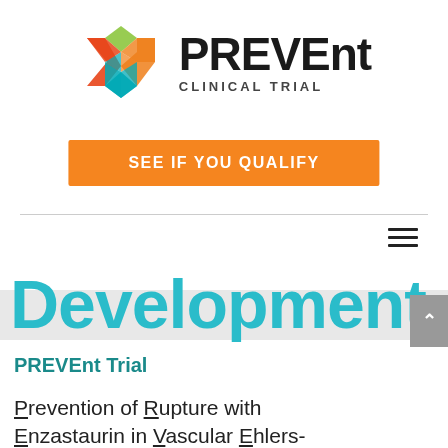[Figure (logo): PREVEnt Clinical Trial logo with colorful interlocking heart/chevron shape and bold PREVEnt text with CLINICAL TRIAL subtitle]
SEE IF YOU QUALIFY
Development
PREVEnt Trial
Prevention of Rupture with Enzastaurin in Vascular Ehlers-